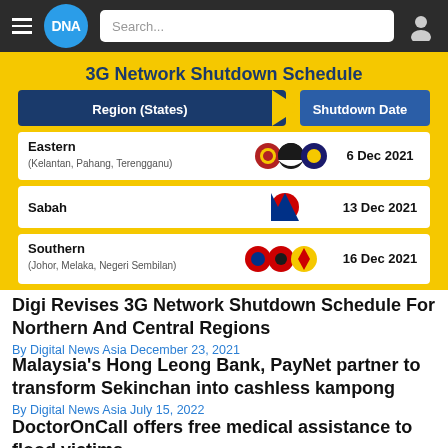DNA
[Figure (table-as-image): 3G Network Shutdown Schedule infographic with yellow background. Table showing Region (States) and Shutdown Date: Eastern (Kelantan, Pahang, Terengganu) - 6 Dec 2021; Sabah - 13 Dec 2021; Southern (Johor, Melaka, Negeri Sembilan) - 16 Dec 2021]
Digi Revises 3G Network Shutdown Schedule For Northern And Central Regions
By Digital News Asia December 23, 2021
Malaysia's Hong Leong Bank, PayNet partner to transform Sekinchan into cashless kampong
By Digital News Asia July 15, 2022
DoctorOnCall offers free medical assistance to flood victims
By Digital News Asia December 20, 2021